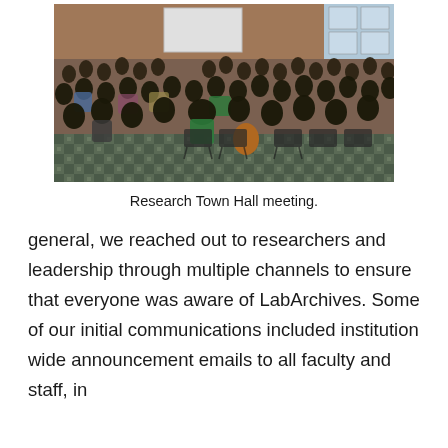[Figure (photo): A large audience seated in rows in an auditorium or conference hall, attending a Research Town Hall meeting. A projection screen is visible at the top. People are seated in dark chairs on a patterned carpet floor.]
Research Town Hall meeting.
general, we reached out to researchers and leadership through multiple channels to ensure that everyone was aware of LabArchives. Some of our initial communications included institution wide announcement emails to all faculty and staff, in